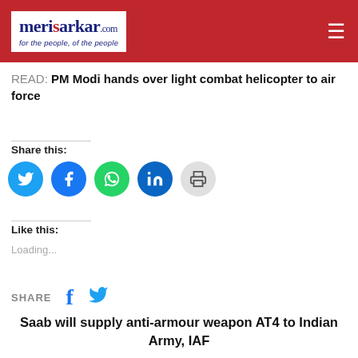merisarkar.com — for the people, of the people
READ: PM Modi hands over light combat helicopter to air force
Share this:
[Figure (infographic): Social share buttons: Twitter (blue circle), Facebook (blue circle), WhatsApp (green circle), LinkedIn (dark blue circle), Print (grey circle)]
Like this:
Loading...
SHARE
Saab will supply anti-armour weapon AT4 to Indian Army, IAF